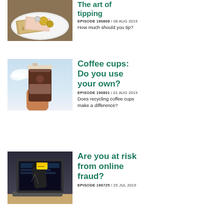[Figure (photo): Coins and banknotes on a white plate — tipping money]
The art of tipping
EPISODE 190808 / 08 AUG 2019
How much should you tip?
[Figure (photo): Hand holding a takeaway coffee cup against a blue sky]
Coffee cups: Do you use your own?
EPISODE 190801 / 01 AUG 2019
Does recycling coffee cups make a difference?
[Figure (photo): A gloved hand reaching through a laptop screen stealing a credit card — online fraud]
Are you at risk from online fraud?
EPISODE 190725 / 25 JUL 2019